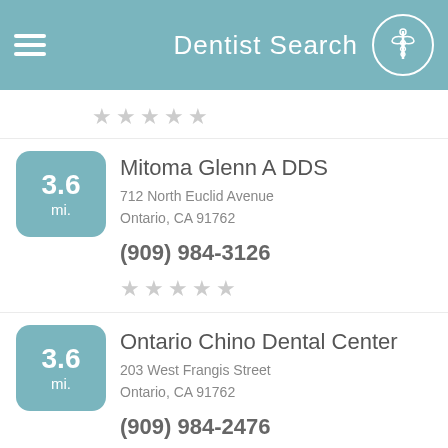Dentist Search
3.6 mi. | Mitoma Glenn A DDS | 712 North Euclid Avenue, Ontario, CA 91762 | (909) 984-3126
3.6 mi. | Ontario Chino Dental Center | 203 West Frangis Street, Ontario, CA 91762 | (909) 984-2476